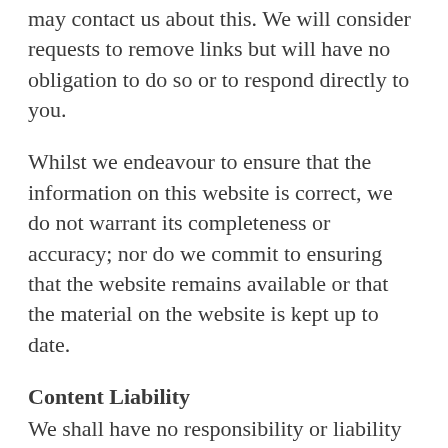may contact us about this. We will consider requests to remove links but will have no obligation to do so or to respond directly to you.
Whilst we endeavour to ensure that the information on this website is correct, we do not warrant its completeness or accuracy; nor do we commit to ensuring that the website remains available or that the material on the website is kept up to date.
Content Liability
We shall have no responsibility or liability for any content appearing on your Web site. You agree to indemnify and defend us against all claims arising out of or based upon your Website. No link(s) …